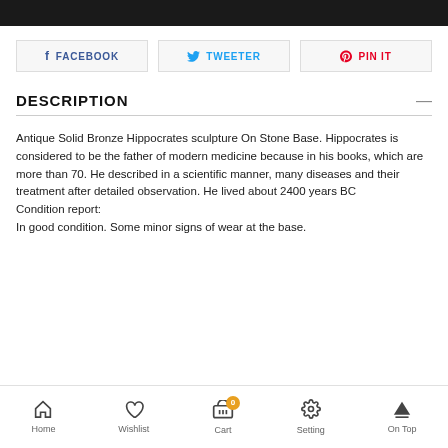[Figure (other): Black top bar / header image strip]
FACEBOOK
TWEETER
PIN IT
DESCRIPTION
Antique Solid Bronze Hippocrates sculpture On Stone Base. Hippocrates is considered to be the father of modern medicine because in his books, which are more than 70. He described in a scientific manner, many diseases and their treatment after detailed observation. He lived about 2400 years BC
Condition report:
In good condition. Some minor signs of wear at the base.
Home   Wishlist   Cart 0   Setting   On Top